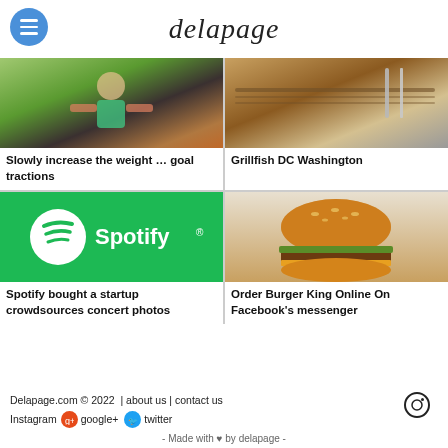delapage
[Figure (photo): Woman exercising in gym with weights]
Slowly increase the weight … goal tractions
[Figure (photo): Restaurant table setting with fork and knife]
Grillfish DC Washington
[Figure (photo): Spotify logo on green background]
Spotify bought a startup crowdsources concert photos
[Figure (photo): Burger King hamburger]
Order Burger King Online On Facebook's messenger
Delapage.com © 2022  |  about us | contact us   Instagram  google+  twitter  - Made with ♥ by delapage -